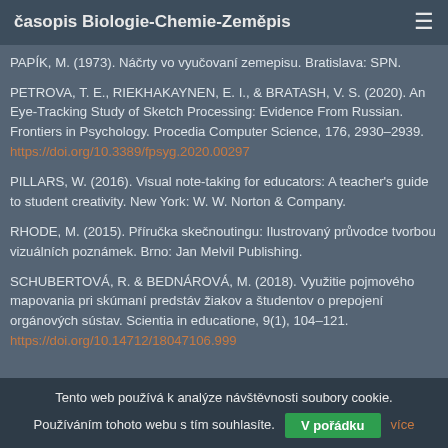časopis Biologie-Chemie-Zeměpis
PAPÍK, M. (1973). Náčrty vo vyučovaní zemepisu. Bratislava: SPN.
PETROVA, T. E., RIEKHAKAYNEN, E. I., & BRATASH, V. S. (2020). An Eye-Tracking Study of Sketch Processing: Evidence From Russian. Frontiers in Psychology. Procedia Computer Science, 176, 2930–2939. https://doi.org/10.3389/fpsyg.2020.00297
PILLARS, W. (2016). Visual note-taking for educators: A teacher's guide to student creativity. New York: W. W. Norton & Company.
RHODE, M. (2015). Příručka skečnoutingu: Ilustrovaný průvodce tvorbou vizuálních poznámek. Brno: Jan Melvil Publishing.
SCHUBERTOVÁ, R. & BEDNÁROVÁ, M. (2018). Využitie pojmového mapovania pri skúmaní predstáv žiakov a študentov o prepojení orgánových sústav. Scientia in educatione, 9(1), 104–121. https://doi.org/10.14712/18047106.999
Tento web používá k analýze návštěvnosti soubory cookie. Používáním tohoto webu s tím souhlasíte. V pořádku více